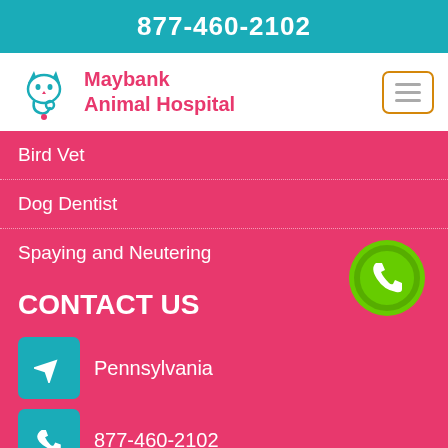877-460-2102
Maybank Animal Hospital
Bird Vet
Dog Dentist
Spaying and Neutering
CONTACT US
Pennsylvania
877-460-2102
Maybank Animal Hospital helps you find local vets for free. Service providers are interdependently owned and do not...